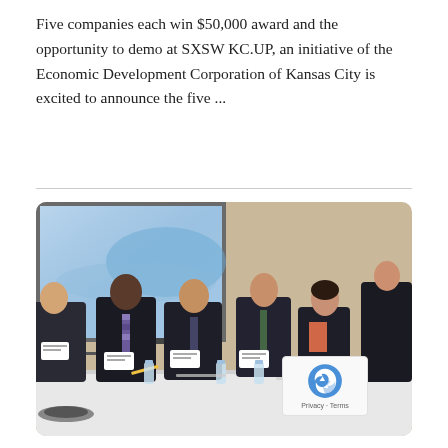Five companies each win $50,000 award and the opportunity to demo at SXSW KC.UP, an initiative of the Economic Development Corporation of Kansas City is excited to announce the five ...
[Figure (photo): A group of business professionals seated at a long table with a white tablecloth in a conference room setting. A projection screen showing a blue background is visible in the upper left. Several men in dark suits and one woman in a dark jacket are seated at the table with name tags, water bottles, and papers in front of them.]